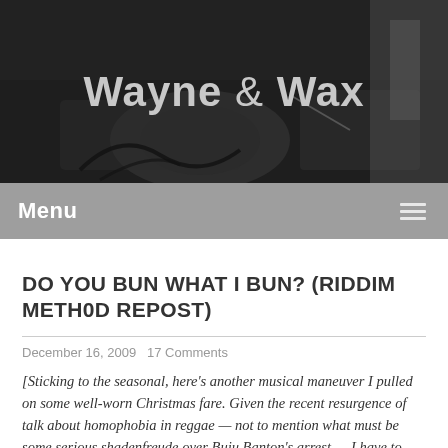[Figure (photo): Black and white photo of a DJ at turntables with cables visible, used as website header background. Text overlay reads 'Wayne & Wax'.]
Menu
DO YOU BUN WHAT I BUN? (RIDDIM METH0D REPOST)
December 16, 2009 17 Comments
[Sticking to the seasonal, here's another musical maneuver I pulled on some well-worn Christmas fare. Given the recent resurgence of talk about homophobia in reggae — not to mention what must be some serious shadenfreude over Buju Banton's arrest — I have to admit that, sharing Rizzla's frustration, I'm a little ambivalent about adding, um, flames to the fire. But a lot of my thoughts below still hold, and I still find